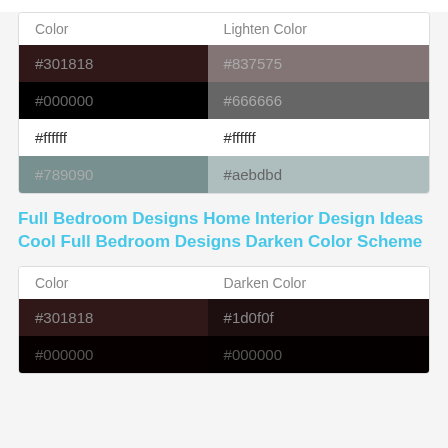| Color | Lighten Color |
| --- | --- |
| #301818 | #837575 |
| #000000 | #666666 |
| #ffffff | #ffffff |
| #789090 | #aebdbd |
Full Bedroom Designs Home Interior Design Ideas Cool Full Bedroom Designs Darken Color Scheme
| Color | Darken Color |
| --- | --- |
| #301818 | #1d0f0f |
| #000000 | #000000 |